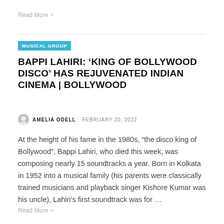Read More >
MUSICAL GROUP
BAPPI LAHIRI: ‘KING OF BOLLYWOOD DISCO’ HAS REJUVENATED INDIAN CINEMA | BOLLYWOOD
AMELIA ODELL   FEBRUARY 20, 2022
At the height of his fame in the 1980s, “the disco king of Bollywood”, Bappi Lahiri, who died this week, was composing nearly 15 soundtracks a year. Born in Kolkata in 1952 into a musical family (his parents were classically trained musicians and playback singer Kishore Kumar was his uncle), Lahiri’s first soundtrack was for …
Read More >